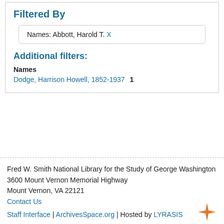Filtered By
Names: Abbott, Harold T. X
Additional filters:
Names
Dodge, Harrison Howell, 1852-1937  1
Fred W. Smith National Library for the Study of George Washington
3600 Mount Vernon Memorial Highway
Mount Vernon, VA 22121
Contact Us
Staff Interface | ArchivesSpace.org | Hosted by LYRASIS